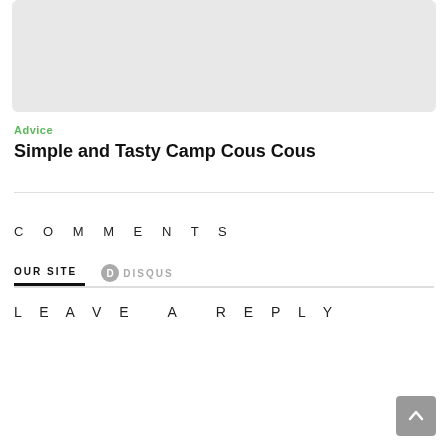[Figure (photo): Gray placeholder image card at top of page]
Advice
Simple and Tasty Camp Cous Cous
COMMENTS
OUR SITE   DISQUS
LEAVE A REPLY